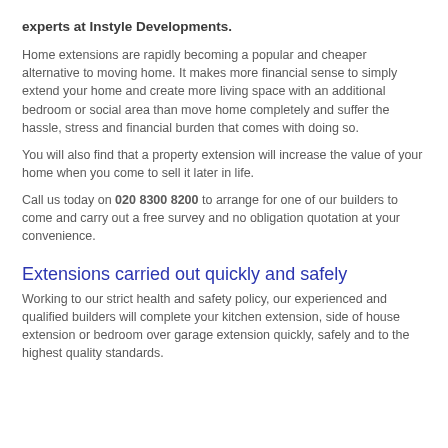experts at Instyle Developments.
Home extensions are rapidly becoming a popular and cheaper alternative to moving home. It makes more financial sense to simply extend your home and create more living space with an additional bedroom or social area than move home completely and suffer the hassle, stress and financial burden that comes with doing so.
You will also find that a property extension will increase the value of your home when you come to sell it later in life.
Call us today on 020 8300 8200 to arrange for one of our builders to come and carry out a free survey and no obligation quotation at your convenience.
Extensions carried out quickly and safely
Working to our strict health and safety policy, our experienced and qualified builders will complete your kitchen extension, side of house extension or bedroom over garage extension quickly, safely and to the highest quality standards.